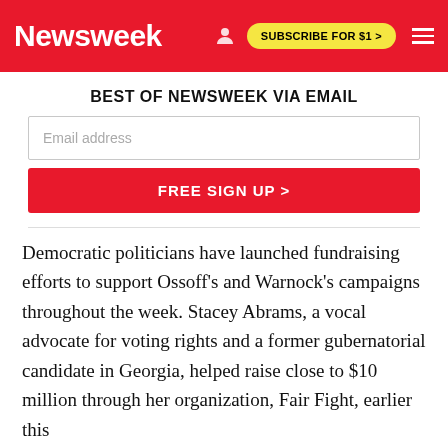Newsweek
BEST OF NEWSWEEK VIA EMAIL
Email address
FREE SIGN UP >
Democratic politicians have launched fundraising efforts to support Ossoff's and Warnock's campaigns throughout the week. Stacey Abrams, a vocal advocate for voting rights and a former gubernatorial candidate in Georgia, helped raise close to $10 million through her organization, Fair Fight, earlier this